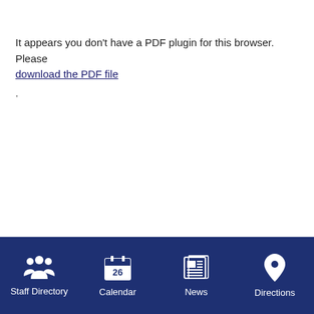It appears you don't have a PDF plugin for this browser. Please download the PDF file .
Staff Directory  Calendar  News  Directions